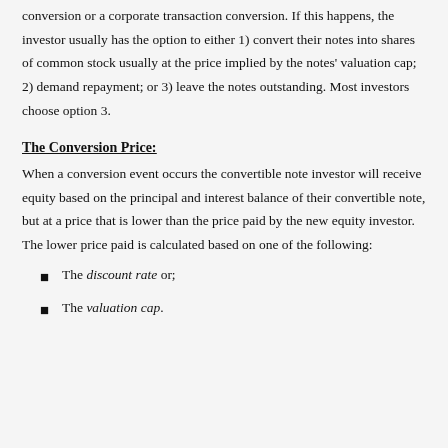conversion or a corporate transaction conversion. If this happens, the investor usually has the option to either 1) convert their notes into shares of common stock usually at the price implied by the notes' valuation cap; 2) demand repayment; or 3) leave the notes outstanding. Most investors choose option 3.
The Conversion Price:
When a conversion event occurs the convertible note investor will receive equity based on the principal and interest balance of their convertible note, but at a price that is lower than the price paid by the new equity investor. The lower price paid is calculated based on one of the following:
The discount rate or;
The valuation cap.